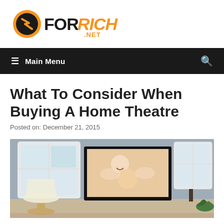[Figure (logo): ForRich.net logo with orange and black stylized text and circular icon]
≡ Main Menu
What To Consider When Buying A Home Theatre
Posted on: December 21, 2015
[Figure (photo): Home theatre room photo showing a large flat screen TV mounted on a blue-grey wall with a window, lamp, and plants, with a family image displayed on the TV screen]